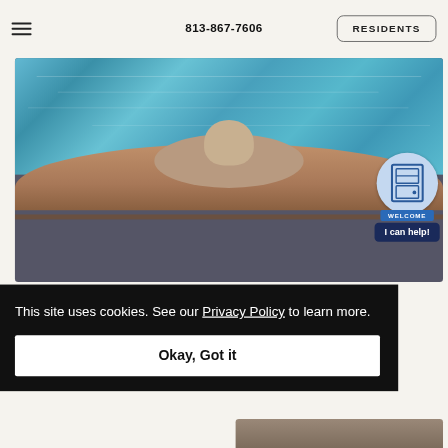813-867-7606  RESIDENTS
[Figure (photo): Person relaxing at a pool edge wearing a large sun hat, viewed from behind. Blue pool water visible. A welcome chatbot widget with a door icon, 'WELCOME' badge, and 'I can help!' button overlaid in bottom right.]
This site uses cookies. See our Privacy Policy to learn more.
Okay, Got it